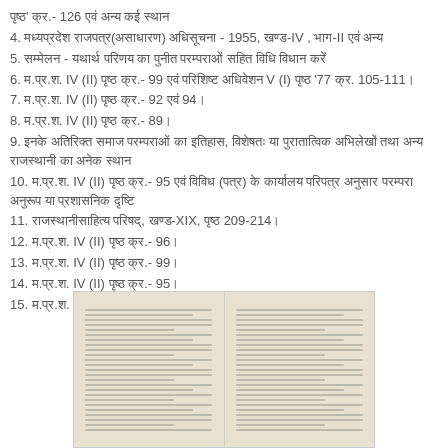पृष्ठ' क्र.- 126 एवं अन्य कई स्थान
4. मध्यप्रदेश राजपत्र(असाधारण) अधिसूचना - 1955, खण्ड-IV , भाग-II एवं अन्य
5. सम्मेलन - यथार्थ परिणय का पुनीत परम्पराओं सहित विधि विधान करें
6. म.प्र.श. IV (II) पृष्ठ क्र.- 99 एवं परिशिष्ट अधिवेशन V (I) पृष्ठ '77 क्र. 105-111।
7. म.प्र.श. IV (II) पृष्ठ क्र.- 92 एवं 94।
8. म.प्र.श. IV (II) पृष्ठ क्र.- 89।
9. इनके अतिरिक्त समाज परम्पराओं का इतिहास, विशेषतः या पुरातात्विक अभिलेखों तथा अन्य राजस्थानी का अनेक स्थान
10. म.प्र.श. IV (II) पृष्ठ क्र.- 95 एवं विविध (पत्र) के कार्यालय परिपत्र अनुसार परम्परा अनुरूप या प्रशासनिक दृष्टि
11. राजस्थानीसाहित्य परिषद्, खण्ड-XIX, पृष्ठ 209-214।
12. म.प्र.श. IV (II) पृष्ठ क्र.- 96।
13. म.प्र.श. IV (II) पृष्ठ क्र.- 99।
14. म.प्र.श. IV (II) पृष्ठ क्र.- 95।
15. म.प्र.श. IV (II) पृष्ठ क्र.- 96।
[Figure (photo): Two scanned document pages with Hindi text, side by side, showing an old printed or typed document.]